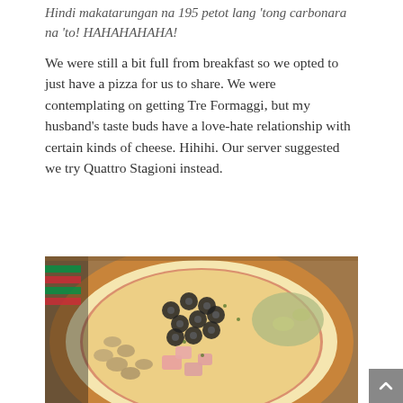Hindi makatarungan na 195 petot lang 'tong carbonara na 'to! HAHAHAHAHA!
We were still a bit full from breakfast so we opted to just have a pizza for us to share. We were contemplating on getting Tre Formaggi, but my husband's taste buds have a love-hate relationship with certain kinds of cheese. Hihihi. Our server suggested we try Quattro Stagioni instead.
[Figure (photo): Close-up photo of a Quattro Stagioni pizza topped with black olives, ham, mushrooms, and melted cheese on a wooden board, with an Italian flag-striped menu visible in the background.]